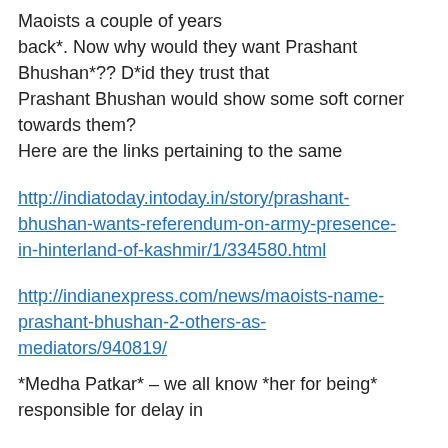Maoists a couple of years back*. Now why would they want Prashant Bhushan*?? D*id they trust that Prashant Bhushan would show some soft corner towards them?
Here are the links pertaining to the same
http://indiatoday.intoday.in/story/prashant-bhushan-wants-referendum-on-army-presence-in-hinterland-of-kashmir/1/334580.html
http://indianexpress.com/news/maoists-name-prashant-bhushan-2-others-as-mediators/940819/
*Medha Patkar* – we all know *her for being* responsible for delay in